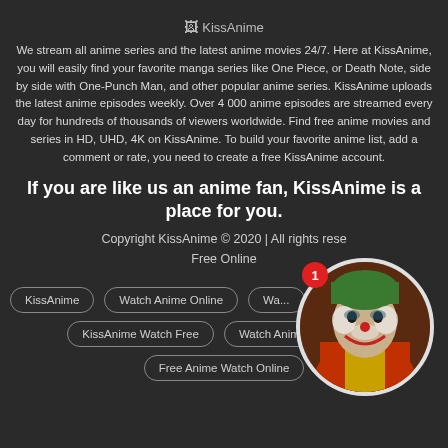[Figure (logo): KissAnime logo (broken image placeholder)]
We stream all anime series and the latest anime movies 24/7. Here at KissAnime, you will easily find your favorite manga series like One Piece, or Death Note, side by side with One-Punch Man, and other popular anime series. KissAnime uploads the latest anime episodes weekly. Over 4 000 anime episodes are streamed every day for hundreds of thousands of viewers worldwide. Find free anime movies and series in HD, UHD, 4K on KissAnime. To build your favorite anime list, add a comment or rate, you need to create a free KissAnime account.
If you are like us an anime fan, KissAnime is a place for you.
[Figure (photo): Circular portrait photo of Joker character (Joaquin Phoenix) with numbered notification badge showing '1']
Copyright KissAnime © 2020 | All rights rese... Free Online
KissAnime
Watch Anime Online
Wa...
KissAnime Watch Free
Watch Anime In HD Free
Free Anime Watch Online